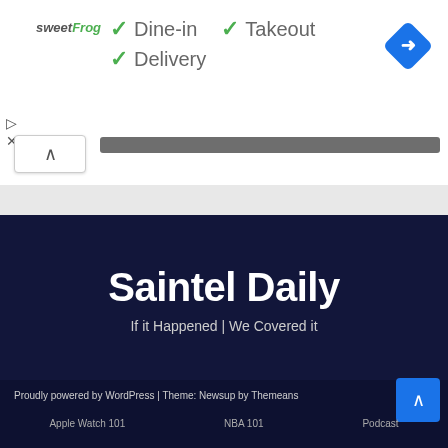[Figure (logo): sweetFrog logo in pink/green italic font]
✓ Dine-in
✓ Takeout
✓ Delivery
[Figure (illustration): Blue diamond-shaped Google Maps navigation icon with white arrow]
[Figure (screenshot): Dark scroll bar and navigation UI element with up arrow]
Saintel Daily
If it Happened | We Covered it
Proudly powered by WordPress | Theme: Newsup by Themeans
Apple Watch 101   NBA 101   Podcast